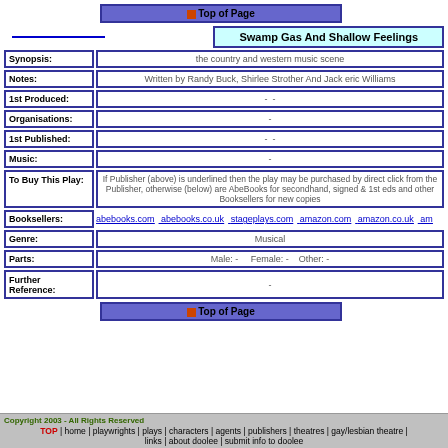Top of Page
Swamp Gas And Shallow Feelings
| Field | Value |
| --- | --- |
| Synopsis: | the country and western music scene |
| Notes: | Written by Randy Buck, Shirlee Strother And Jack eric Williams |
| 1st Produced: | - - |
| Organisations: | - |
| 1st Published: | - - |
| Music: | - |
| To Buy This Play: | If Publisher (above) is underlined then the play may be purchased by direct click from the Publisher, otherwise (below) are AbeBooks for secondhand, signed & 1st eds and other Booksellers for new copies |
| Booksellers: | abebooks.com abebooks.co.uk stageplays.com amazon.com amazon.co.uk am... |
| Genre: | Musical |
| Parts: | Male: - Female: - Other: - |
| Further Reference: | - |
Top of Page
Copyright 2003 - All Rights Reserved TOP | home | playwrights | plays | characters | agents | publishers | theatres | gay/lesbian theatre | links | about doolee | submit info to doolee